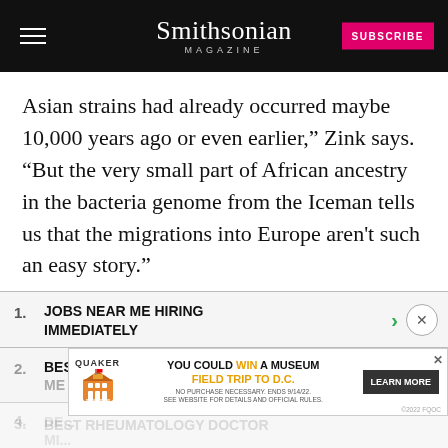Smithsonian MAGAZINE
Asian strains had already occurred maybe 10,000 years ago or even earlier,” Zink says. “But the very small part of African ancestry in the bacteria genome from the Iceman tells us that the migrations into Europe aren't such an easy story.”
1. JOBS NEAR ME HIRING IMMEDIATELY
2. BEST DIVORCE LAWYERS NEAR ME
3. DE... MI...
[Figure (screenshot): Banner advertisement: Quaker / Museum Day promotion - YOU COULD WIN A MUSEUM FIELD TRIP TO D.C. LEARN MORE]
4. BEST RHEUMATOLOGY DOCTOR